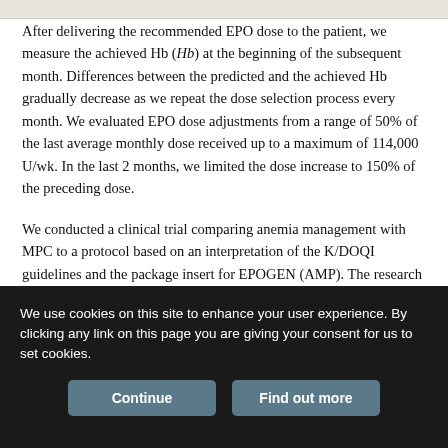After delivering the recommended EPO dose to the patient, we measure the achieved Hb (Hb) at the beginning of the subsequent month. Differences between the predicted and the achieved Hb gradually decrease as we repeat the dose selection process every month. We evaluated EPO dose adjustments from a range of 50% of the last average monthly dose received up to a maximum of 114,000 U/wk. In the last 2 months, we limited the dose increase to 150% of the preceding dose.
We conducted a clinical trial comparing anemia management with MPC to a protocol based on an interpretation of the K/DOQI guidelines and the package insert for EPOGEN (AMP). The research
We use cookies on this site to enhance your user experience. By clicking any link on this page you are giving your consent for us to set cookies.